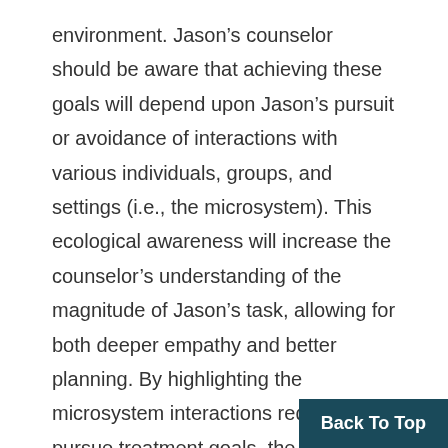environment. Jason's counselor should be aware that achieving these goals will depend upon Jason's pursuit or avoidance of interactions with various individuals, groups, and settings (i.e., the microsystem). This ecological awareness will increase the counselor's understanding of the magnitude of Jason's task, allowing for both deeper empathy and better planning. By highlighting the microsystem interactions required to pursue treatment goals, the counselor can help Jason become aware of the many variables in the environment he may not be able to control, thus emphasizing the importance o steadfast regarding those elements of his
Back To Top